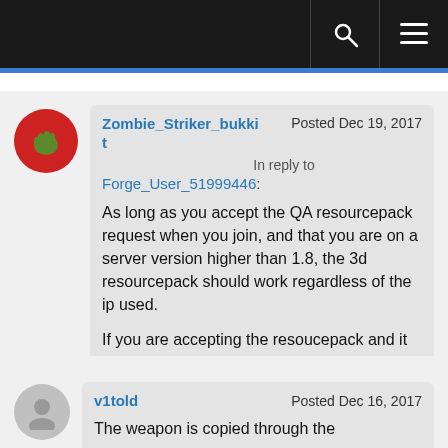[Figure (screenshot): Dark navigation bar with search and menu icons]
Zombie_Striker_bukkit
Posted Dec 19, 2017
In reply to
Forge_User_51999446:
 As long as you accept the QA resourcepack request when you join, and that you are on a server version higher than 1.8, the 3d resourcepack should work regardless of the ip used.

If you are accepting the resoucepack and it still does not appear, can you post the full console log?
v1told
Posted Dec 16, 2017
The weapon is copied through the